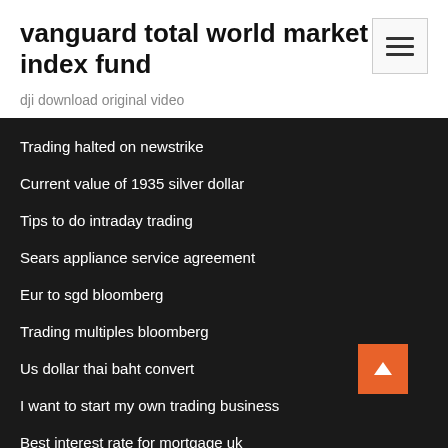vanguard total world market index fund
dji download original video
Trading halted on newstrike
Current value of 1935 silver dollar
Tips to do intraday trading
Sears appliance service agreement
Eur to sgd bloomberg
Trading multiples bloomberg
Us dollar thai baht convert
I want to start my own trading business
Best interest rate for mortgage uk